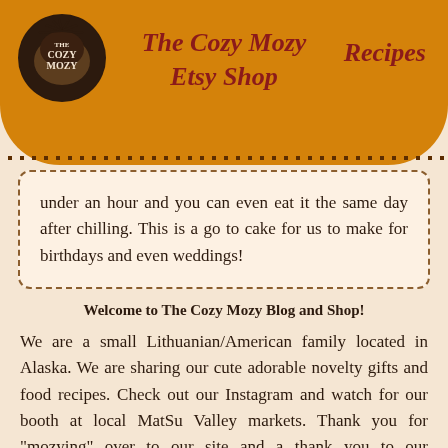The Cozy Mozy Etsy Shop | Recipes
under an hour and you can even eat it the same day after chilling. This is a go to cake for us to make for birthdays and even weddings!
Welcome to The Cozy Mozy Blog and Shop!
We are a small Lithuanian/American family located in Alaska. We are sharing our cute adorable novelty gifts and food recipes. Check out our Instagram and watch for our booth at local MatSu Valley markets. Thank you for "mozying" over to our site and a thank you to our customers for the support!